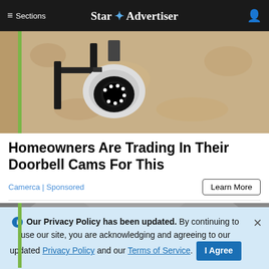≡ Sections  Star ✦ Advertiser
[Figure (photo): Security camera mounted on a textured wall, close-up shot with a green vertical bar on the left edge]
Homeowners Are Trading In Their Doorbell Cams For This
Camerca | Sponsored
Learn More
[Figure (photo): Close-up of an older man's face with grey hair, partial view]
ℹ Our Privacy Policy has been updated. By continuing to use our site, you are acknowledging and agreeing to our updated Privacy Policy and our Terms of Service. I Agree